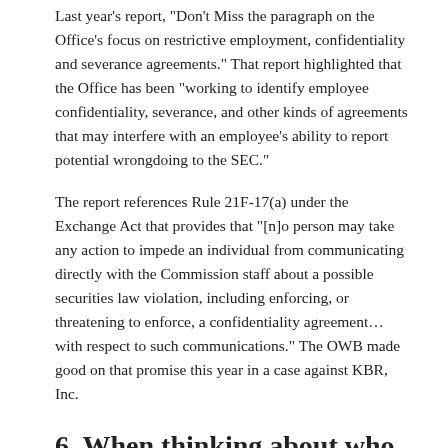Last year's report, "Don't Miss the paragraph on the Office's focus on restrictive employment, confidentiality and severance agreements." That report highlighted that the Office has been "working to identify employee confidentiality, severance, and other kinds of agreements that may interfere with an employee's ability to report potential wrongdoing to the SEC."
The report references Rule 21F-17(a) under the Exchange Act that provides that "[n]o person may take any action to impede an individual from communicating directly with the Commission staff about a possible securities law violation, including enforcing, or threatening to enforce, a confidentiality agreement…with respect to such communications." The OWB made good on that promise this year in a case against KBR, Inc.
6. When thinking about who may take an issue to the SEC, look up (the organization chain).